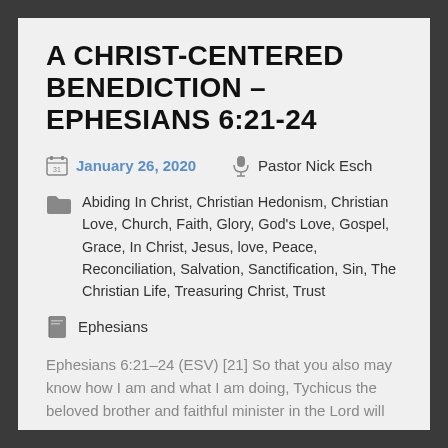A CHRIST-CENTERED BENEDICTION – EPHESIANS 6:21-24
January 26, 2020   Pastor Nick Esch
Abiding In Christ, Christian Hedonism, Christian Love, Church, Faith, Glory, God's Love, Gospel, Grace, In Christ, Jesus, love, Peace, Reconciliation, Salvation, Sanctification, Sin, The Christian Life, Treasuring Christ, Trust
Ephesians
Ephesians 6:21–24 (ESV) [21] So that you also may know how I am and what I am doing, Tychicus the beloved brother and faithful minister in the Lord will